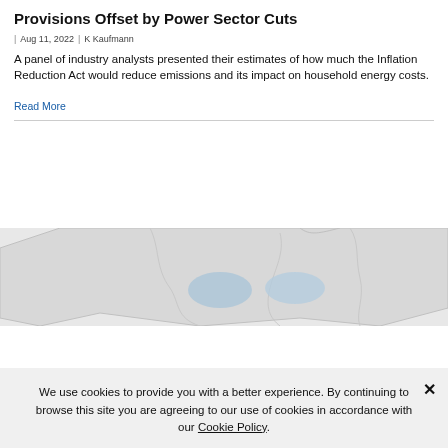Provisions Offset by Power Sector Cuts
| Aug 11, 2022 | K Kaufmann
A panel of industry analysts presented their estimates of how much the Inflation Reduction Act would reduce emissions and its impact on household energy costs.
Read More
[Figure (map): Partial view of a geographic map with light gray land areas and light blue water/highlighted regions]
We use cookies to provide you with a better experience. By continuing to browse this site you are agreeing to our use of cookies in accordance with our Cookie Policy.